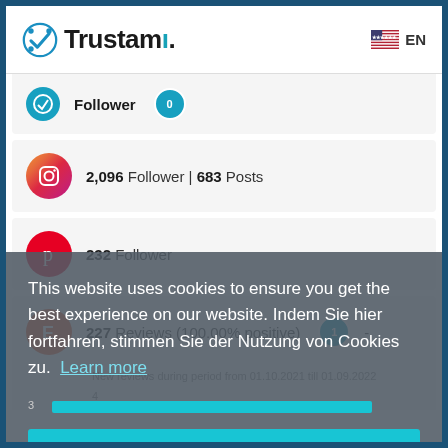Trustami. EN
Follower 0
2,096 Follower | 683 Posts
232 Follower
227 Reviews (100.00% positive) 1 -
New reviews during period from 01.10.2021 till 01.09.2022
4
This website uses cookies to ensure you get the best experience on our website. Indem Sie hier fortfahren, stimmen Sie der Nutzung von Cookies zu.  Learn more
3
Ok!